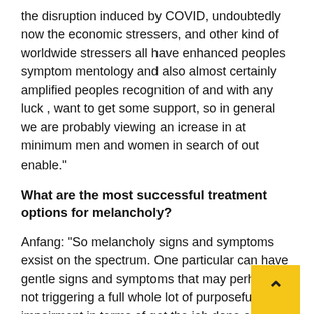the disruption induced by COVID, undoubtedly now the economic stressers, and other kind of worldwide stressers all have enhanced peoples symptom mentology and also almost certainly amplified peoples recognition of and with any luck , want to get some support, so in general we are probably viewing an icrease in at minimum men and women in search of out enable."
What are the most successful treatment options for melancholy?
Anfang: "So melancholy signs and symptoms exsist on the spectrum. One particular can have gentle signs and symptoms that may perhaps be not triggering a full whole lot of purposeful impairment in terms of get the job done or college or daily lifetime to more serious indicators that are really creating it quite tough or difficult to function properly at do the job or at school or in your daily life and could possibly even lead to protection issues, is that could indicate you have to have a larger amount of care. So based on the signs, a treatment method could